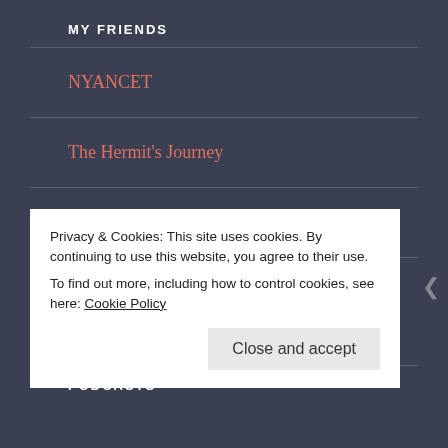MY FRIENDS
NYANCET
The Hermit's Journey
The Random Musings of a 1873 Original
Thinking Inside The Box
PODCASTS
Privacy & Cookies: This site uses cookies. By continuing to use this website, you agree to their use.
To find out more, including how to control cookies, see here: Cookie Policy
Close and accept